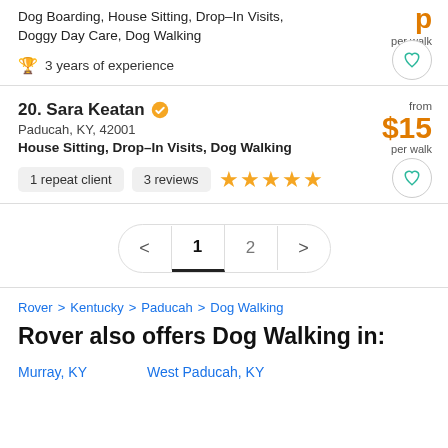Dog Boarding, House Sitting, Drop-In Visits, Doggy Day Care, Dog Walking
3 years of experience
20. Sara Keatan
Paducah, KY, 42001
House Sitting, Drop-In Visits, Dog Walking
from $15 per walk
1 repeat client
3 reviews
Pagination: < 1 2 >
Rover > Kentucky > Paducah > Dog Walking
Rover also offers Dog Walking in:
Murray, KY
West Paducah, KY